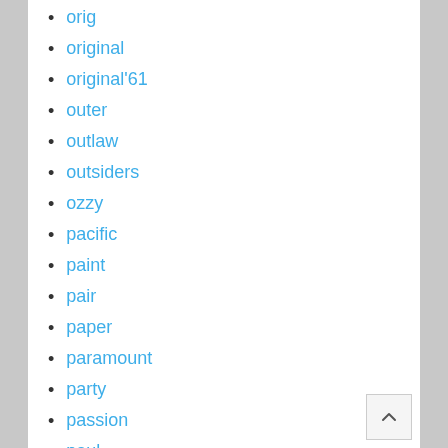orig
original
original'61
outer
outlaw
outsiders
ozzy
pacific
paint
pair
paper
paramount
party
passion
paul
pawn
pedacito
peeping